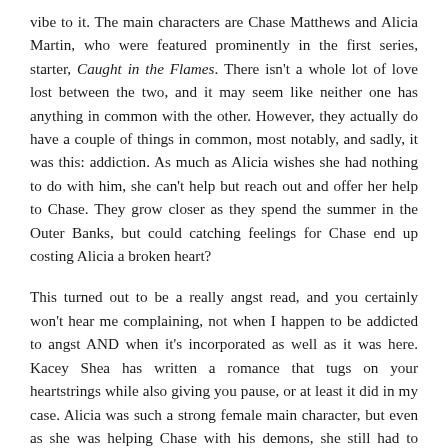vibe to it. The main characters are Chase Matthews and Alicia Martin, who were featured prominently in the first series, starter, Caught in the Flames. There isn't a whole lot of love lost between the two, and it may seem like neither one has anything in common with the other. However, they actually do have a couple of things in common, most notably, and sadly, it was this: addiction. As much as Alicia wishes she had nothing to do with him, she can't help but reach out and offer her help to Chase. They grow closer as they spend the summer in the Outer Banks, but could catching feelings for Chase end up costing Alicia a broken heart?
This turned out to be a really angst read, and you certainly won't hear me complaining, not when I happen to be addicted to angst AND when it's incorporated as well as it was here. Kacey Shea has written a romance that tugs on your heartstrings while also giving you pause, or at least it did in my case. Alicia was such a strong female main character, but even as she was helping Chase with his demons, she still had to actively battle her own. Shea didn't sugarcoat the difficulties that an addict experiences, but she also highlights the power of love and how it can serve as inspiration for an even challenge for one. First,...